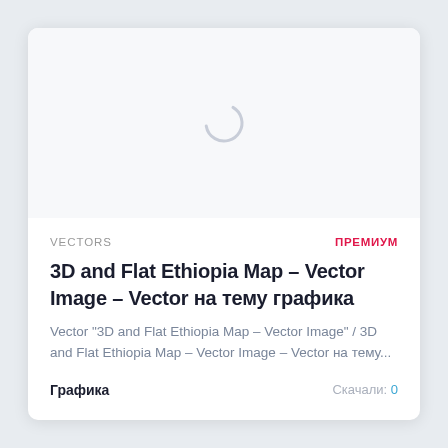[Figure (other): Loading spinner (circular arc) indicating image is loading]
VECTORS
ПРЕМИУМ
3D and Flat Ethiopia Map – Vector Image – Vector на тему графика
Vector "3D and Flat Ethiopia Map – Vector Image" / 3D and Flat Ethiopia Map – Vector Image – Vector на тему...
Графика
Скачали: 0